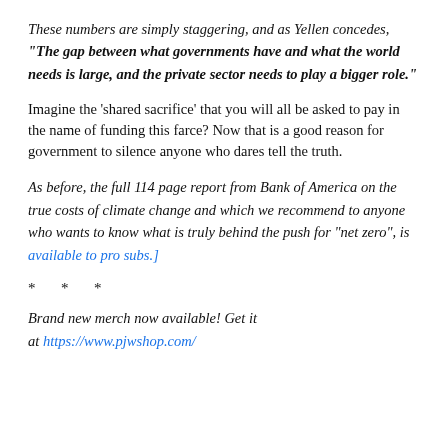These numbers are simply staggering, and as Yellen concedes, "The gap between what governments have and what the world needs is large, and the private sector needs to play a bigger role."
Imagine the ‘shared sacrifice’ that you will all be asked to pay in the name of funding this farce? Now that is a good reason for government to silence anyone who dares tell the truth.
As before, the full 114 page report from Bank of America on the true costs of climate change and which we recommend to anyone who wants to know what is truly behind the push for “net zero”, is available to pro subs.]
* * *
Brand new merch now available! Get it at https://www.pjwshop.com/